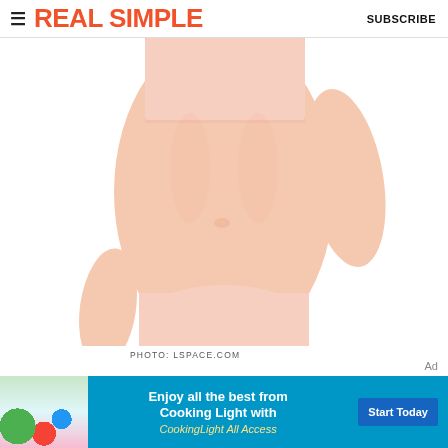REAL SIMPLE  SUBSCRIBE
[Figure (photo): Model wearing a light pink bandeau bikini top and matching bikini bottoms against a white background, cropped from chest to upper thighs]
PHOTO: LSPACE.COM
Over millennial pink? Try cherry blossom
[Figure (infographic): Advertisement banner for Cooking Light All Access with food image on left, text 'Enjoy all the best from Cooking Light with CookingLight All Access' in center on teal background, and 'Start Today' button on right]